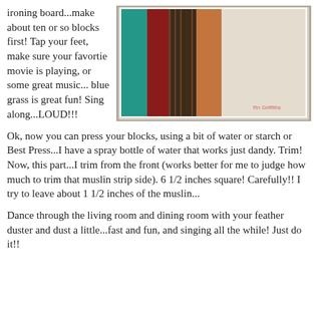ironing board...make about ten or so blocks first! Tap your feet, make sure your favortie movie is playing, or some great music... blue grass is great fun! Sing along...LOUD!!!
[Figure (photo): Photo of quilt fabric strips sewn together in various colors including teal, red, plaid, orange, and cream/white, laid on a gray surface.]
Ok, now you can press your blocks, using a bit of water or starch or Best Press...I have a spray bottle of water that works just dandy. Trim! Now, this part...I trim from the front (works better for me to judge how much to trim that muslin strip side). 6 1/2 inches square! Carefully!! I try to leave about 1 1/2 inches of the muslin...
Dance through the living room and dining room with your feather duster and dust a little...fast and fun, and singing all the while! Just do it!!